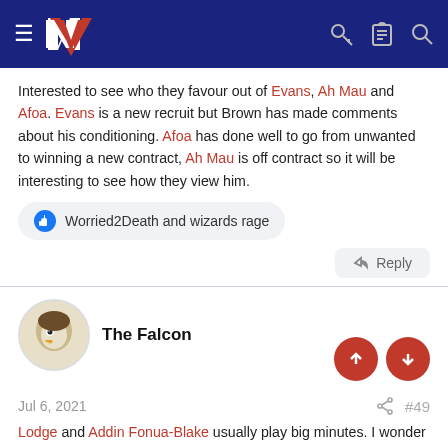NZ Rugby League forum header
Interested to see who they favour out of Evans, Ah Mau and Afoa. Evans is a new recruit but Brown has made comments about his conditioning. Afoa has done well to go from unwanted to winning a new contract, Ah Mau is off contract so it will be interesting to see how they view him.
Worried2Death and wizards rage
Reply
The Falcon
Jul 6, 2021 #49
Lodge and Addin Fonua-Blake usually play big minutes. I wonder if they will go for containment in the rotation and leave Evans out and